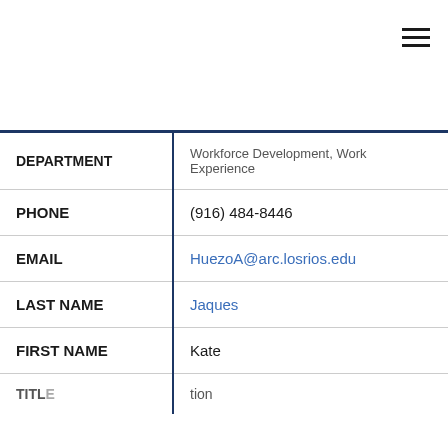[Figure (screenshot): Hamburger menu icon in top right corner]
| Field | Value |
| --- | --- |
| DEPARTMENT | Workforce Development, Work Experience |
| PHONE | (916) 484-8446 |
| EMAIL | HuezoA@arc.losrios.edu |
| LAST NAME | Jaques |
| FIRST NAME | Kate |
| TITLE | ...tion |
May I help you?
Cookies Disclaimer
The American River College website uses cookies to enhance user experience and analyze site usage. By continuing to use this site, you are giving us consent to do this. Review our Privacy Policy to learn more.
ACCEPT AND CLOSE